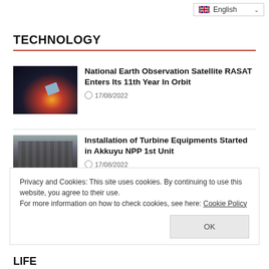English
TECHNOLOGY
[Figure (photo): Satellite in orbit above Earth with glowing light]
National Earth Observation Satellite RASAT Enters Its 11th Year In Orbit
17/08/2022
[Figure (photo): Industrial turbine equipment inside a facility]
Installation of Turbine Equipments Started in Akkuyu NPP 1st Unit
17/08/2022
Privacy and Cookies: This site uses cookies. By continuing to use this website, you agree to their use.
For more information on how to check cookies, see here: Cookie Policy
OK